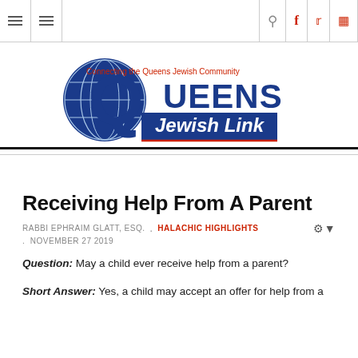Queens Jewish Link – navigation bar with menu, search, facebook, twitter, instagram icons
[Figure (logo): Queens Jewish Link logo: large blue Q with globe, text 'QUEENS Jewish Link', tagline 'Connecting the Queens Jewish Community']
Receiving Help From A Parent
RABBI EPHRAIM GLATT, ESQ.  .  HALACHIC HIGHLIGHTS  .  NOVEMBER 27 2019
Question: May a child ever receive help from a parent?
Short Answer: Yes, a child may accept an offer for help from a